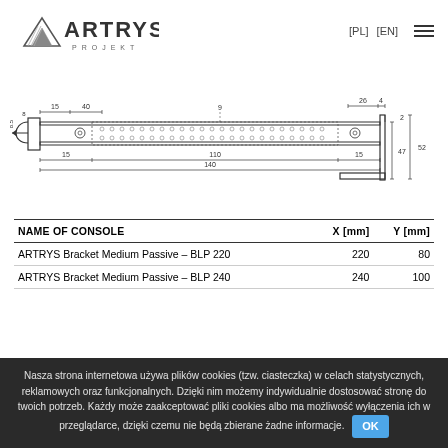[Figure (logo): ARTRYS PROJEKT logo - stylized text with triangular graphic element]
[Figure (engineering-diagram): Technical drawing of ARTRYS Bracket Medium Passive console showing dimensions: 15, 40, 26, 4 (top), 15, 110, 15 (middle), 140 (total length), 47, 52 (height), 2, 8, 8.5 (left side details)]
| NAME OF CONSOLE | X [mm] | Y [mm] |
| --- | --- | --- |
| ARTRYS Bracket Medium Passive – BLP 220 | 220 | 80 |
| ARTRYS Bracket Medium Passive – BLP 240 | 240 | 100 |
Nasza strona internetowa używa plików cookies (tzw. ciasteczka) w celach statystycznych, reklamowych oraz funkcjonalnych. Dzięki nim możemy indywidualnie dostosować stronę do twoich potrzeb. Każdy może zaakceptować pliki cookies albo ma możliwość wyłączenia ich w przeglądarce, dzięki czemu nie będą zbierane żadne informacje.